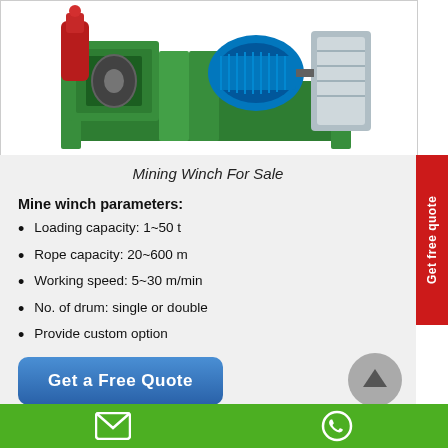[Figure (photo): Mining winch machine with green frame, red hydraulic component on left, blue electric motor, and silver cylinder on right, photographed on white background]
Mining Winch For Sale
Mine winch parameters:
Loading capacity: 1~50 t
Rope capacity: 20~600 m
Working speed: 5~30 m/min
No. of drum: single or double
Provide custom option
Get a Free Quote
[email icon] [whatsapp icon]